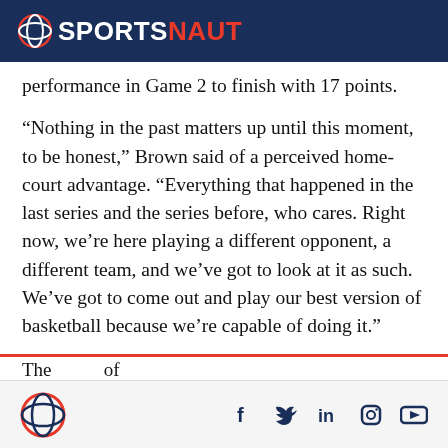SPORTSNAUT
performance in Game 2 to finish with 17 points.
“Nothing in the past matters up until this moment, to be honest,” Brown said of a perceived home-court advantage. “Everything that happened in the last series and the series before, who cares. Right now, we’re here playing a different opponent, a different team, and we’ve got to look at it as such. We’ve got to come out and play our best version of basketball because we’re capable of doing it.”
Social icons: Facebook, Twitter, LinkedIn, Instagram, YouTube